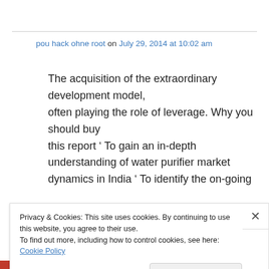pou hack ohne root on July 29, 2014 at 10:02 am
The acquisition of the extraordinary development model, often playing the role of leverage. Why you should buy this report ‘ To gain an in-depth understanding of water purifier market dynamics in India ‘ To identify the on-going
Privacy & Cookies: This site uses cookies. By continuing to use this website, you agree to their use.
To find out more, including how to control cookies, see here: Cookie Policy
Close and accept